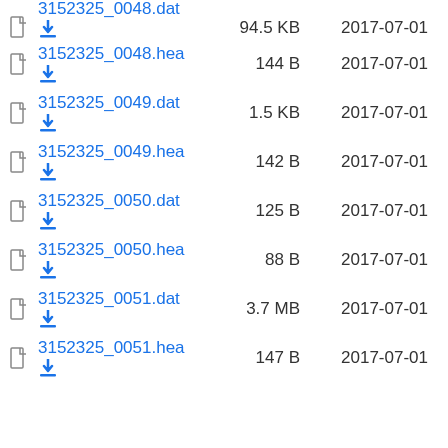3152325_0048.dat   94.5 KB   2017-07-01
3152325_0048.hea   144 B   2017-07-01
3152325_0049.dat   1.5 KB   2017-07-01
3152325_0049.hea   142 B   2017-07-01
3152325_0050.dat   125 B   2017-07-01
3152325_0050.hea   88 B   2017-07-01
3152325_0051.dat   3.7 MB   2017-07-01
3152325_0051.hea   147 B   2017-07-01